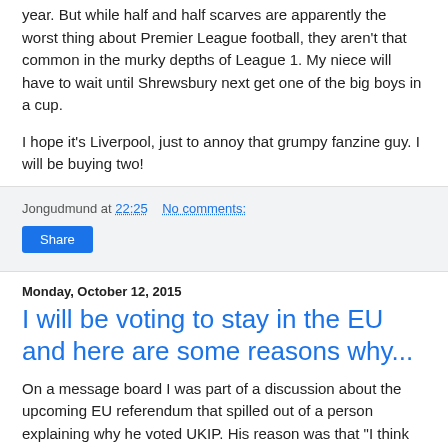year. But while half and half scarves are apparently the worst thing about Premier League football, they aren't that common in the murky depths of League 1. My niece will have to wait until Shrewsbury next get one of the big boys in a cup.
I hope it's Liverpool, just to annoy that grumpy fanzine guy. I will be buying two!
Jongudmund at 22:25   No comments:
Share
Monday, October 12, 2015
I will be voting to stay in the EU and here are some reasons why...
On a message board I was part of a discussion about the upcoming EU referendum that spilled out of a person explaining why he voted UKIP. His reason was that "I think national sovereignty is the defining issue of our generation."